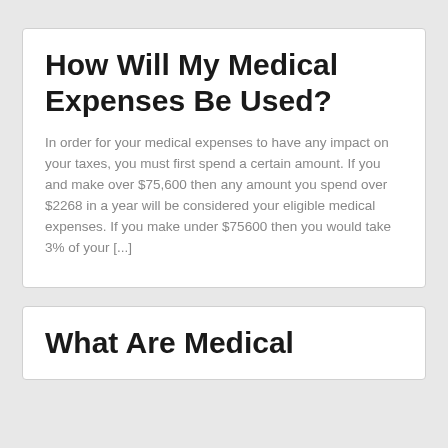How Will My Medical Expenses Be Used?
In order for your medical expenses to have any impact on your taxes, you must first spend a certain amount.  If you and make over $75,600 then any amount you spend over $2268 in a year will be considered your eligible medical expenses. If you make under $75600 then you would take 3% of your [...]
What Are Medical